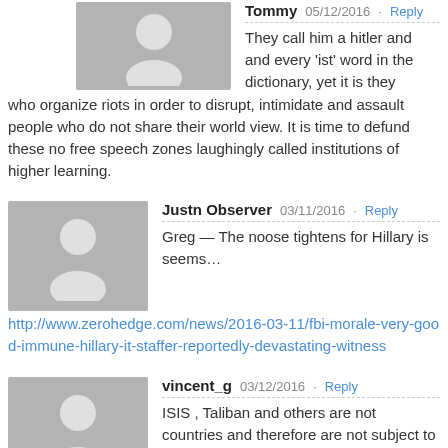Tommy — 05/12/2016 · Reply
They call him a hitler and and every 'ist' word in the dictionary, yet it is they who organize riots in order to disrupt, intimidate and assault people who do not share their world view. It is time to defund these no free speech zones laughingly called institutions of higher learning.
Justn Observer — 03/11/2016 · Reply
Greg — The noose tightens for Hillary is seems…
http://www.zerohedge.com/news/2016-03-11/fbi-morale-very-good-immune-hillary-it-staffer-reportedly-devastating-witness
vincent_g — 03/12/2016 · Reply
ISIS , Taliban and others are not countries and therefore are not subject to rules of the Geneva Conventions.